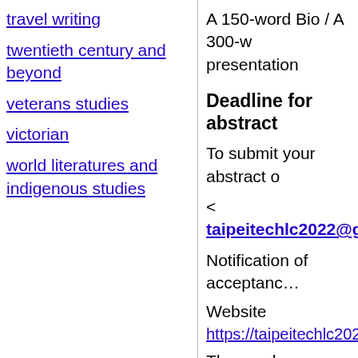travel writing
twentieth century and beyond
veterans studies
victorian
world literatures and indigenous studies
A 150-word Bio / A 300-w… presentation
Deadline for abstract
To submit your abstract …
< taipeitechlc2022@g…
Notification of acceptance…
Website
https://taipeitechlc2022.…
The word Mnemosyne (M…